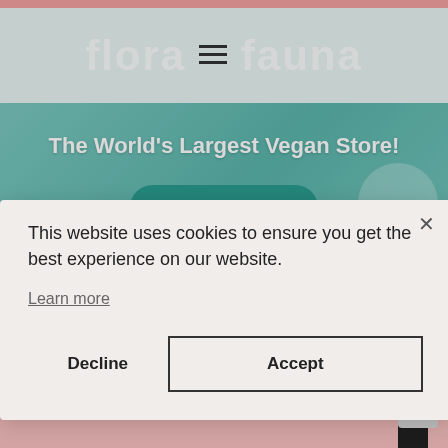[Figure (screenshot): Flora & Fauna website header with logo text 'flora&fauna' on teal/mint background]
[Figure (screenshot): Website banner with teal background showing 'The World's Largest Vegan Store!' text and a teal 'Shop Now' button, with vegan/beauty products in background]
This website uses cookies to ensure you get the best experience on our website.
Learn more
Decline
Accept